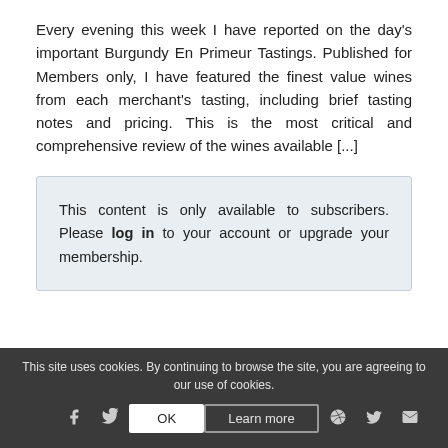Every evening this week I have reported on the day's important Burgundy En Primeur Tastings. Published for Members only, I have featured the finest value wines from each merchant's tasting, including brief tasting notes and pricing. This is the most critical and comprehensive review of the wines available [...]
This content is only available to subscribers. Please log in to your account or upgrade your membership.
This site uses cookies. By continuing to browse the site, you are agreeing to our use of cookies.